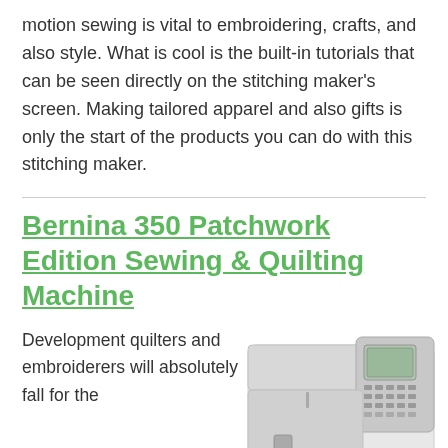motion sewing is vital to embroidering, crafts, and also style. What is cool is the built-in tutorials that can be seen directly on the stitching maker's screen. Making tailored apparel and also gifts is only the start of the products you can do with this stitching maker.
Bernina 350 Patchwork Edition Sewing & Quilting Machine
Development quilters and embroiderers will absolutely fall for the
[Figure (photo): Photo of a Bernina 350 sewing and quilting machine, white/grey body with digital display and controls on the right side, Bernina logo in red.]